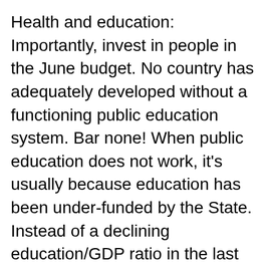Health and education: Importantly, invest in people in the June budget. No country has adequately developed without a functioning public education system. Bar none! When public education does not work, it's usually because education has been under-funded by the State. Instead of a declining education/GDP ratio in the last years in Pakistan, we need to move it in the other direction, with a commitment to reach three per cent of GDP in three years (Unesco after all recommends four per cent). A similar challenge lies with health: as a first step, we can sharply scale up the health card initiative so that all those below a certain income are covered.